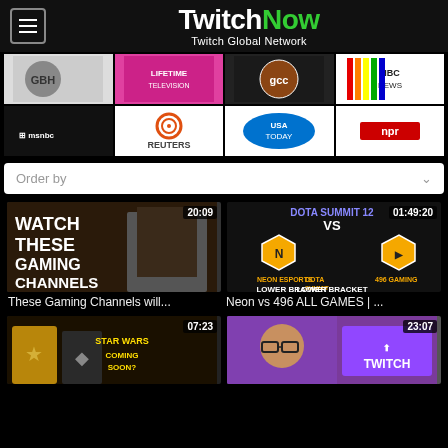TwitchNow — Twitch Global Network
[Figure (screenshot): Row of network/channel logos: GBH, Lifetime Television, GCC, NBC News]
[Figure (screenshot): Row of network/channel logos: MSNBC, Reuters, USA Today, NPR]
Order by
[Figure (screenshot): Video thumbnail: WATCH THESE GAMING CHANNELS, duration 20:09]
These Gaming Channels will...
[Figure (screenshot): Video thumbnail: DOTA SUMMIT 12 Neon Esports vs 496 Gaming Lower Bracket, duration 01:49:20]
Neon vs 496 ALL GAMES | ...
[Figure (screenshot): Video thumbnail: Star Wars Coming Soon?, duration 07:23]
[Figure (screenshot): Video thumbnail: Twitch channel, duration 23:07]